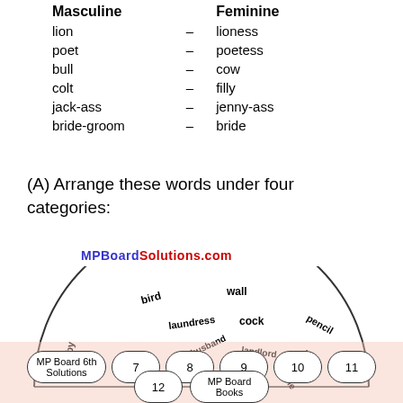| Masculine |  | Feminine |
| --- | --- | --- |
| lion | – | lioness |
| poet | – | poetess |
| bull | – | cow |
| colt | – | filly |
| jack-ass | – | jenny-ass |
| bride-groom | – | bride |
(A) Arrange these words under four categories:
[Figure (illustration): A semicircular diagram with words arranged in a half-circle: bird, wall, laundress, cock, pencil, baby, husband, landlord, heir, done, tab arranged around the arc.]
MP Board 6th Solutions   7   8   9   10   11   12   MP Board Books